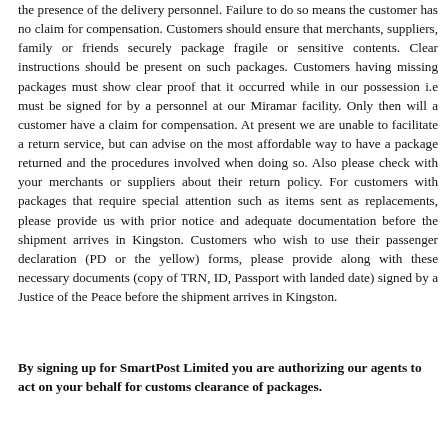the presence of the delivery personnel. Failure to do so means the customer has no claim for compensation. Customers should ensure that merchants, suppliers, family or friends securely package fragile or sensitive contents. Clear instructions should be present on such packages. Customers having missing packages must show clear proof that it occurred while in our possession i.e must be signed for by a personnel at our Miramar facility. Only then will a customer have a claim for compensation. At present we are unable to facilitate a return service, but can advise on the most affordable way to have a package returned and the procedures involved when doing so. Also please check with your merchants or suppliers about their return policy. For customers with packages that require special attention such as items sent as replacements, please provide us with prior notice and adequate documentation before the shipment arrives in Kingston. Customers who wish to use their passenger declaration (PD or the yellow) forms, please provide along with these necessary documents (copy of TRN, ID, Passport with landed date) signed by a Justice of the Peace before the shipment arrives in Kingston.
By signing up for SmartPost Limited you are authorizing our agents to act on your behalf for customs clearance of packages.